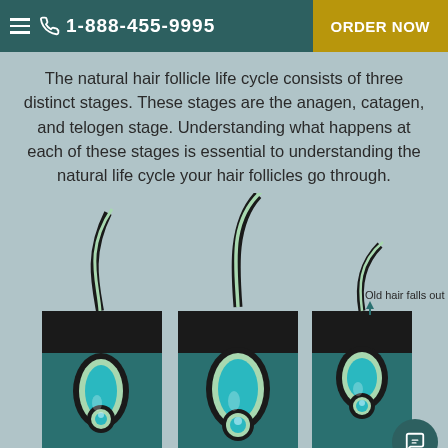1-888-455-9995  ORDER NOW
The natural hair follicle life cycle consists of three distinct stages. These stages are the anagen, catagen, and telogen stage. Understanding what happens at each of these stages is essential to understanding the natural life cycle your hair follicles go through.
[Figure (illustration): Three cross-section diagrams of hair follicles showing different stages of the hair growth cycle. Three follicles are shown side by side embedded in skin cross-sections. The third follicle has a label 'Old hair falls out' with an upward arrow. Each follicle shows the hair shaft, follicle bulb, and dermal papilla in teal/cream colors against a dark background skin layer.]